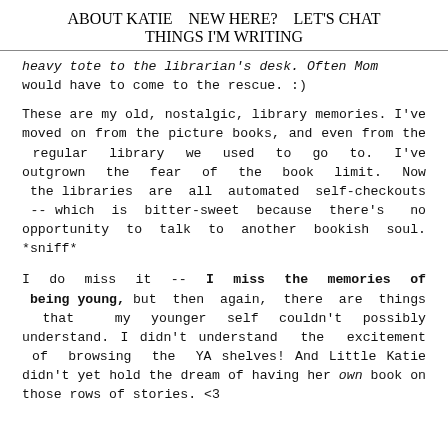ABOUT KATIE   NEW HERE?   LET'S CHAT
THINGS I'M WRITING
heavy tote to the librarian's desk. Often Mom would have to come to the rescue. :)
These are my old, nostalgic, library memories. I've moved on from the picture books, and even from the regular library we used to go to. I've outgrown the fear of the book limit. Now the libraries are all automated self-checkouts -- which is bitter-sweet because there's no opportunity to talk to another bookish soul. *sniff*
I do miss it -- I miss the memories of being young, but then again, there are things that my younger self couldn't possibly understand. I didn't understand the excitement of browsing the YA shelves! And Little Katie didn't yet hold the dream of having her own book on those rows of stories. <3